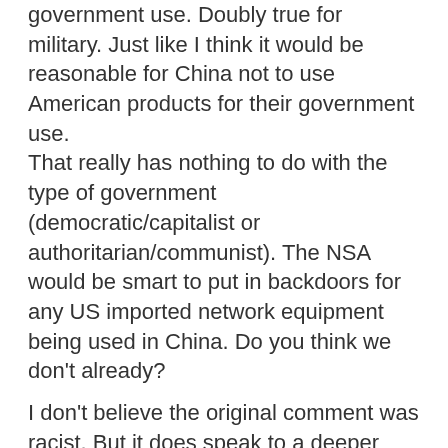government use. Doubly true for military. Just like I think it would be reasonable for China not to use American products for their government use. That really has nothing to do with the type of government (democratic/capitalist or authoritarian/communist). The NSA would be smart to put in backdoors for any US imported network equipment being used in China. Do you think we don't already?
I don't believe the original comment was racist. But it does speak to a deeper irrational fear. Some people are trying to make China into an all encompassing boogeyman. Yeah, they are a significant geopolitical adversary for many reasons. But no, they didn't create the virus in a lab. No, they did not plant hidden chips onto motherboards sent to the US. And no, they don't need to be mentioned on every major cybersecurity breach.